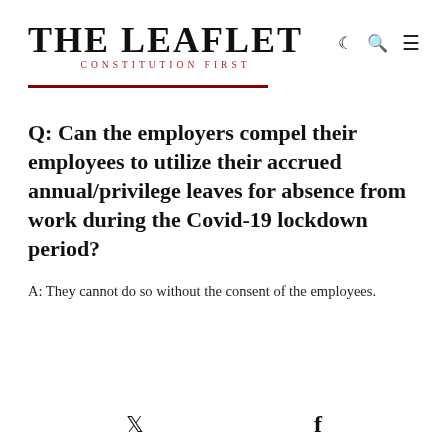THE LEAFLET · CONSTITUTION FIRST
Q: Can the employers compel their employees to utilize their accrued annual/privilege leaves for absence from work during the Covid-19 lockdown period?
A: They cannot do so without the consent of the employees.
Twitter  Facebook